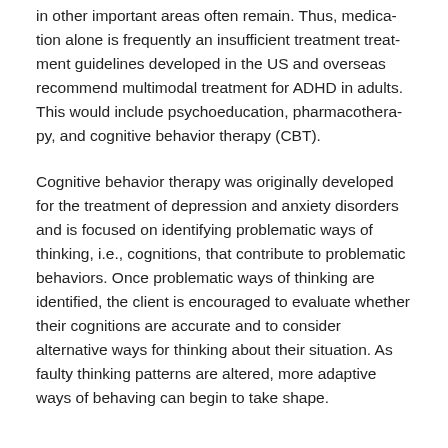in other important areas often remain. Thus, medication alone is frequently an insufficient treatment treatment guidelines developed in the US and overseas recommend multimodal treatment for ADHD in adults. This would include psychoeducation, pharmacotherapy, and cognitive behavior therapy (CBT).
Cognitive behavior therapy was originally developed for the treatment of depression and anxiety disorders and is focused on identifying problematic ways of thinking, i.e., cognitions, that contribute to problematic behaviors. Once problematic ways of thinking are identified, the client is encouraged to evaluate whether their cognitions are accurate and to consider alternative ways for thinking about their situation. As faulty thinking patterns are altered, more adaptive ways of behaving can begin to take shape.